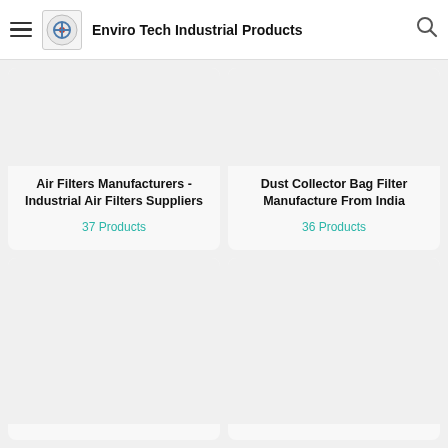Enviro Tech Industrial Products
Air Filters Manufacturers - Industrial Air Filters Suppliers
37 Products
Dust Collector Bag Filter Manufacture From India
36 Products
[Figure (other): Empty product card bottom row left]
[Figure (other): Empty product card bottom row right]